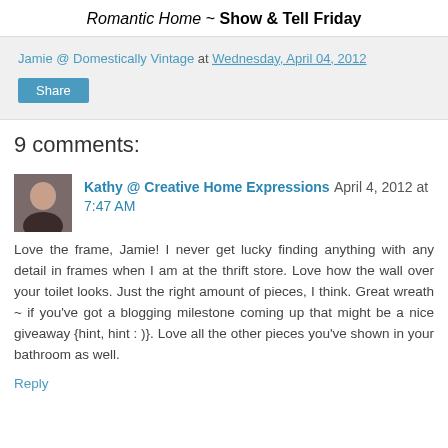Romantic Home ~ Show & Tell Friday
Jamie @ Domestically Vintage at Wednesday, April 04, 2012
Share
9 comments:
Kathy @ Creative Home Expressions April 4, 2012 at 7:47 AM
Love the frame, Jamie! I never get lucky finding anything with any detail in frames when I am at the thrift store. Love how the wall over your toilet looks. Just the right amount of pieces, I think. Great wreath ~ if you've got a blogging milestone coming up that might be a nice giveaway {hint, hint : )}. Love all the other pieces you've shown in your bathroom as well.
Reply